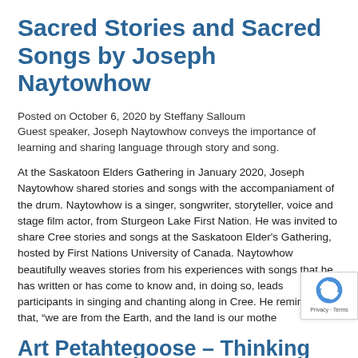Sacred Stories and Sacred Songs by Joseph Naytowhow
Posted on October 6, 2020 by Steffany Salloum
Guest speaker, Joseph Naytowhow conveys the importance of learning and sharing language through story and song.
At the Saskatoon Elders Gathering in January 2020, Joseph Naytowhow shared stories and songs with the accompaniament of the drum. Naytowhow is a singer, songwriter, storyteller, voice and stage film actor, from Sturgeon Lake First Nation. He was invited to share Cree stories and songs at the Saskatoon Elder’s Gathering, hosted by First Nations University of Canada. Naytowhow beautifully weaves stories from his experiences with songs that he has written or has come to know and, in doing so, leads participants in singing and chanting along in Cree. He reminds us that, “we are from the Earth, and the land is our mothe
Art Petahtegoose – Thinking